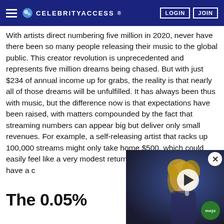CELEBRITYACCESS.
With artists direct numbering five million in 2020, never have there been so many people releasing their music to the global public. This creator revolution is unprecedented and represents five million dreams being chased. But with just $234 of annual income up for grabs, the reality is that nearly all of those dreams will be unfulfilled. It has always been thus with music, but the difference now is that expectations have been raised, with matters compounded by the fact that streaming numbers can appear big but deliver only small revenues. For example, a self-releasing artist that racks up 100,000 streams might only take home $500, which could easily feel like a very modest return to an artist that does not have a clear understanding of how streaming royalties work.
The 0.05%
[Figure (screenshot): Video overlay thumbnail showing a blonde woman performing, with a play button, close X button, and Mojo badge logo in the corner.]